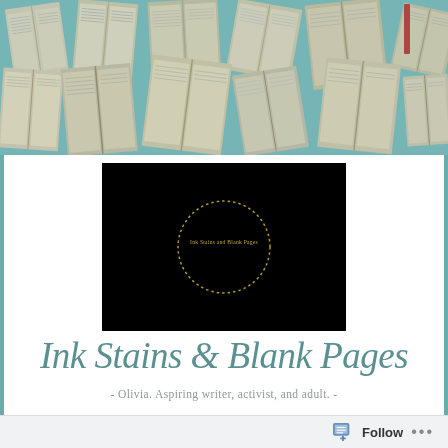[Figure (photo): Header image showing many open books with pages fanned out, arranged in a collage on a teal/blue-tinted background]
[Figure (logo): Black rectangular logo image with a golden dotted circle containing the text 'Ink Stains and Blank Pages' in small text at center]
Ink Stains & Blank Pages
- Olivia. Aspiring writer, activist, and adult. -
Follow ...